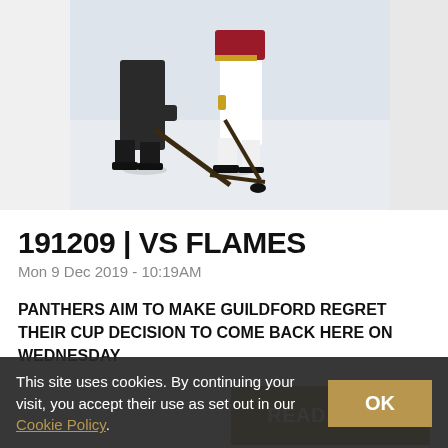[Figure (photo): Ice hockey action photo showing two players competing for the puck on ice, one in dark uniform and one in white/light uniform, viewed from above ice level.]
191209 | VS FLAMES
Mon 9 Dec 2019 - 10:19AM
PANTHERS AIM TO MAKE GUILDFORD REGRET THEIR CUP DECISION TO COME BACK HERE ON WEDNESDAY
READ MORE
This site uses cookies. By continuing your visit, you accept their use as set out in our Cookie Policy.